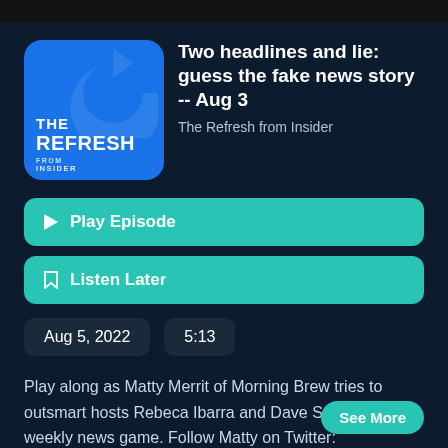[Figure (logo): The Refresh from Insider podcast logo — blue rounded square with stylized circular arrow and text 'THE REFRESH FROM INSIDER']
Two headlines and lie: guess the fake news story -- Aug 3
The Refresh from Insider
▶ Play Episode
🔖 Listen Later
Aug 5, 2022
5:13
Play along as Matty Merrit of Morning Brew tries to outsmart hosts Rebeca Ibarra and Dave Smith in our weekly news game. Follow Matty on Twitter: https://twitter.com/mattynotmaddie Subscribe to the
See More